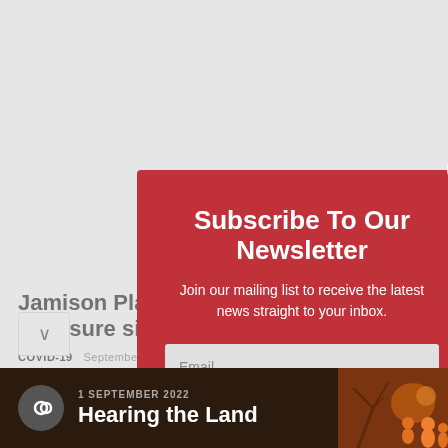Jamison Plaza dominates new exposure sites
COVID-19   September ...  2021
The ACT exposure sites list has been updated to include several stores at Jamison Plaza between Wednesday 1 and Wednesday 8 September
[Figure (screenshot): Newsletter subscription modal overlay on a news article page. Red modal box with white text 'Subscribe To Our Newsletter', subtitle 'Join our mailing list to receive the latest news straight to your inbox.', email input field, and subscribe button. Close button (×) in top-right corner.]
[Figure (infographic): Bottom banner advertisement: dark brown background with infinity logo, date '1 SEPTEMBER 2022', title 'Hearing the Land', orange silhouette figures on right side.]